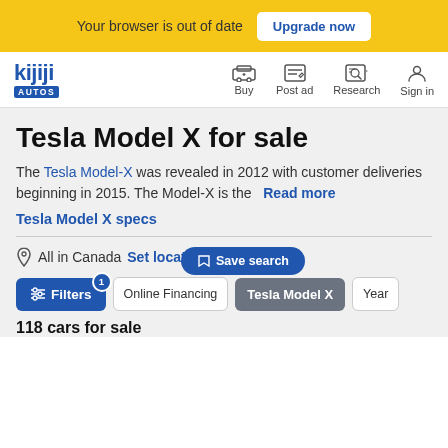Your browser is out of date  Upgrade now
[Figure (logo): Kijiji Autos logo with navigation: Buy, Post ad, Research, Sign in]
Tesla Model X for sale
The Tesla Model-X was revealed in 2012 with customer deliveries beginning in 2015. The Model-X is the  Read more
Tesla Model X specs
All in Canada  Set location
Save search
Filters  Online Financing  Tesla Model X  Year
118 cars for sale